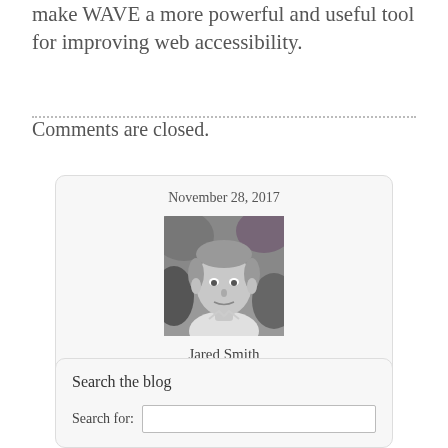make WAVE a more powerful and useful tool for improving web accessibility.
Comments are closed.
November 28, 2017
[Figure (photo): Black and white portrait photo of Jared Smith]
Jared Smith
Comments Off on New Site-wide WAVE Tools
Search the blog
Search for: